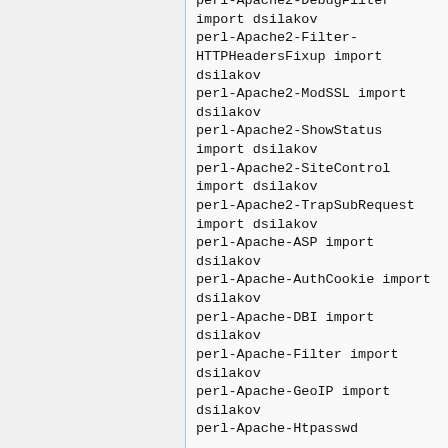perl-Apache2-DebugFilter import dsilakov
perl-Apache2-Filter-HTTPHeadersFixup import dsilakov
perl-Apache2-ModSSL import dsilakov
perl-Apache2-ShowStatus import dsilakov
perl-Apache2-SiteControl import dsilakov
perl-Apache2-TrapSubRequest import dsilakov
perl-Apache-ASP import dsilakov
perl-Apache-AuthCookie import dsilakov
perl-Apache-DBI import dsilakov
perl-Apache-Filter import dsilakov
perl-Apache-GeoIP import dsilakov
perl-Apache-Htpasswd